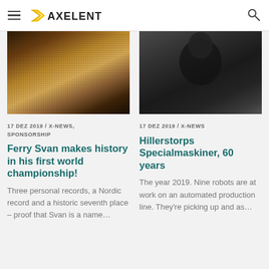AXELENT
[Figure (photo): Partial view of a warm-toned food or nature close-up image (left column article image)]
[Figure (photo): Dark greyscale portrait/person image (right column article image)]
17 DEZ 2019 / X-NEWS, SPONSORSHIP
Ferry Svan makes history in his first world championship!
Three personal records, a Nordic record and a historic seventh place – proof that Svan is a name…
17 DEZ 2019 / X-NEWS
Hillerstorps Specialmaskiner, 60 years
The year 2019. Nine robots are at work on an automated production line. They're picking up and as…